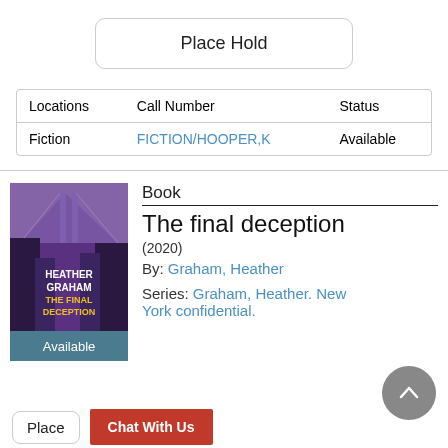Place Hold
| Locations | Call Number | Status |
| --- | --- | --- |
| Fiction | FICTION/HOOPER,K | Available |
[Figure (illustration): Book cover of 'The Final Deception' by Heather Graham, showing a purple/dark urban bridge scene with yellow title text. Bottom strip shows 'Available' in teal.]
Book
The final deception
(2020)
By: Graham, Heather
Series: Graham, Heather. New York confidential.
Place
Chat With Us